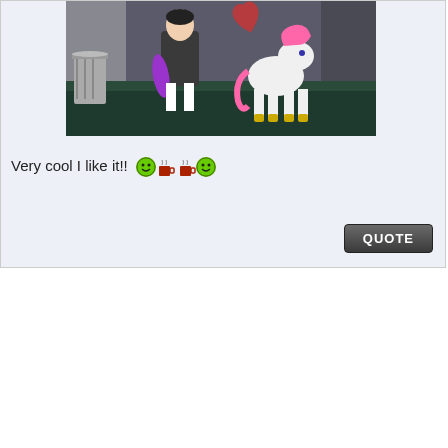[Figure (illustration): Anime/cartoon style illustration showing two characters in an alley: one wearing a dark coat with a purple accessory, another white horse-like character with pink mane and yellow hooves, with a heart graffiti on the wall and a trash can visible]
Very cool I like it!!
[Figure (illustration): Pixel art emoji strip: green smiley face, small red coffee cup with steam, small red coffee cup with steam, green smiley face]